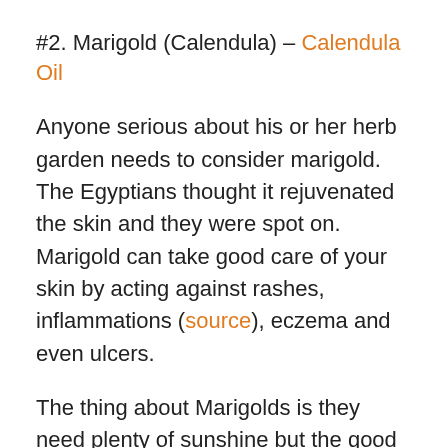#2. Marigold (Calendula) – Calendula Oil
Anyone serious about his or her herb garden needs to consider marigold. The Egyptians thought it rejuvenated the skin and they were spot on. Marigold can take good care of your skin by acting against rashes, inflammations (source), eczema and even ulcers.
The thing about Marigolds is they need plenty of sunshine but the good news is they can grow in pretty much any type of soil and they grow FAST. To use them, you first have to make calendula oil from the petals or, you can go the easy way and get oil or cream online.